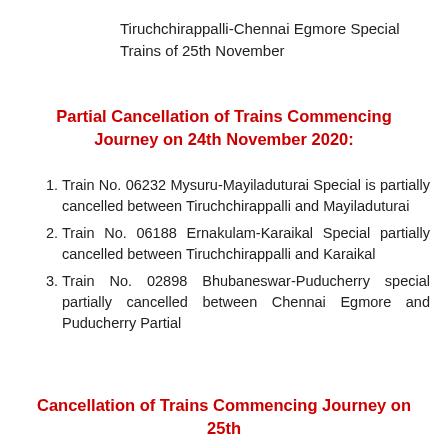Tiruchchirappalli-Chennai Egmore Special Trains of 25th November
Partial Cancellation of Trains Commencing Journey on 24th November 2020:
Train No. 06232 Mysuru-Mayiladuturai Special is partially cancelled between Tiruchchirappalli and Mayiladuturai
Train No. 06188 Ernakulam-Karaikal Special partially cancelled between Tiruchchirappalli and Karaikal
Train No. 02898 Bhubaneswar-Puducherry special partially cancelled between Chennai Egmore and Puducherry Partial
Cancellation of Trains Commencing Journey on 25th